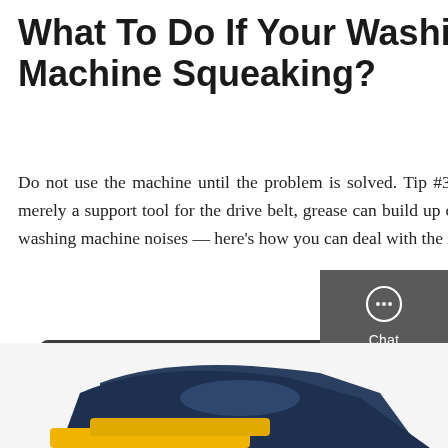What To Do If Your Washing Machine Squeaking?
Do not use the machine until the problem is solved. Tip #3. Check pump and motor pulleys. Although a pulley is merely a support tool for the drive belt, grease can build up on the pulley over time. That, in return, leads to squeaky washing machine noises — here's how you can deal with the issue: Unplug the washer from the outlet.
Get a Quote
[Figure (screenshot): Side panel with Chat, Email, and Contact icons on dark grey background]
[Figure (photo): Bottom portion showing part of a washing machine or appliance in dark blue and yellow colors]